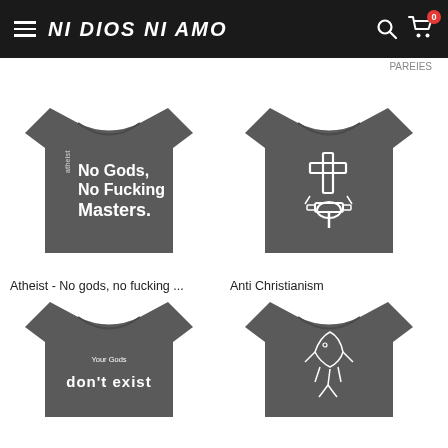NI DIOS NI AMO
PAREIES
[Figure (photo): Gray t-shirt with white text: atheist No Gods, No Fucking Masters.]
Atheist - No gods, no fucking ...
[Figure (photo): Gray t-shirt with white graphic of a cross being smashed/broken]
Anti Christianism
[Figure (photo): Gray t-shirt with text: Your Gods don't exist]
[Figure (photo): Gray t-shirt with white graphic of a fish/creature illustration]